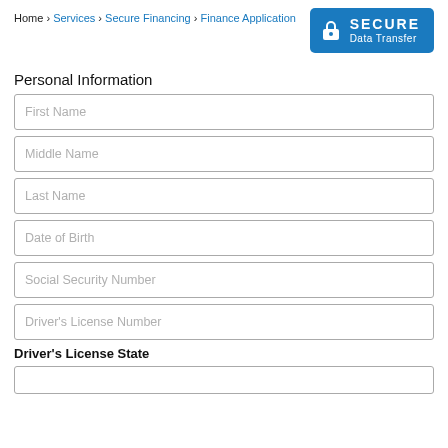Home › Services › Secure Financing › Finance Application
[Figure (other): Blue secure data transfer badge with lock icon, text 'SECURE Data Transfer']
Personal Information
First Name
Middle Name
Last Name
Date of Birth
Social Security Number
Driver's License Number
Driver's License State